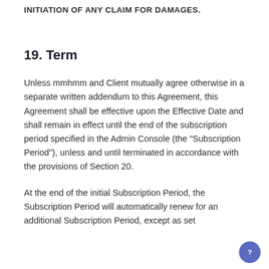INITIATION OF ANY CLAIM FOR DAMAGES.
19. Term
Unless mmhmm and Client mutually agree otherwise in a separate written addendum to this Agreement, this Agreement shall be effective upon the Effective Date and shall remain in effect until the end of the subscription period specified in the Admin Console (the "Subscription Period"), unless and until terminated in accordance with the provisions of Section 20.
At the end of the initial Subscription Period, the Subscription Period will automatically renew for an additional Subscription Period, except as set